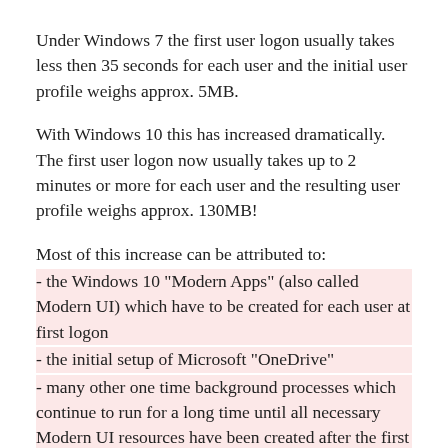Under Windows 7 the first user logon usually takes less then 35 seconds for each user and the initial user profile weighs approx. 5MB.
With Windows 10 this has increased dramatically. The first user logon now usually takes up to 2 minutes or more for each user and the resulting user profile weighs approx. 130MB!
Most of this increase can be attributed to:
- the Windows 10 "Modern Apps" (also called Modern UI) which have to be created for each user at first logon
- the initial setup of Microsoft "OneDrive"
- many other one time background processes which continue to run for a long time until all necessary Modern UI resources have been created after the first user logon process has already completed
- Live tile creation and initial setup for the new Windows 10